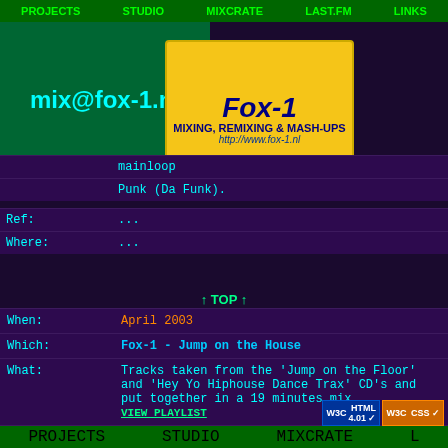PROJECTS  STUDIO  MIXCRATE  LAST.FM  LINKS
[Figure (logo): Fox-1 Mixing, Remixing & Mash-Ups banner with cartoon character and URL http://www.fox-1.nl]
mainloop
Punk (Da Funk).
| Label | Value |
| --- | --- |
| Ref: | ... |
| Where: | ... |
↑ TOP ↑
| Label | Value |
| --- | --- |
| When: | April 2003 |
| Which: | Fox-1 - Jump on the House |
| What: | Tracks taken from the 'Jump on the Floor' and 'Hey Yo Hiphouse Dance Trax' CD's and put together in a 19 minutes mix. VIEW PLAYLIST |
| Ref: | ... |
PROJECTS  STUDIO  MIXCRATE  L